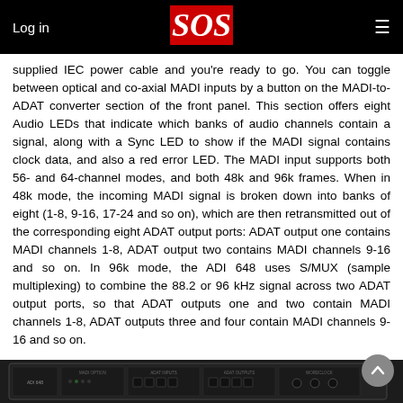Log in  |  SOS  |  ≡
supplied IEC power cable and you're ready to go. You can toggle between optical and co-axial MADI inputs by a button on the MADI-to-ADAT converter section of the front panel. This section offers eight Audio LEDs that indicate which banks of audio channels contain a signal, along with a Sync LED to show if the MADI signal contains clock data, and also a red error LED. The MADI input supports both 56- and 64-channel modes, and both 48k and 96k frames. When in 48k mode, the incoming MADI signal is broken down into banks of eight (1-8, 9-16, 17-24 and so on), which are then retransmitted out of the corresponding eight ADAT output ports: ADAT output one contains MADI channels 1-8, ADAT output two contains MADI channels 9-16 and so on. In 96k mode, the ADI 648 uses S/MUX (sample multiplexing) to combine the 88.2 or 96 kHz signal across two ADAT output ports, so that ADAT outputs one and two contain MADI channels 1-8, ADAT outputs three and four contain MADI channels 9-16 and so on.
[Figure (photo): Front panel of the ADI 648 rack unit device showing MADI inputs/outputs and ADAT ports along with various LEDs and controls]